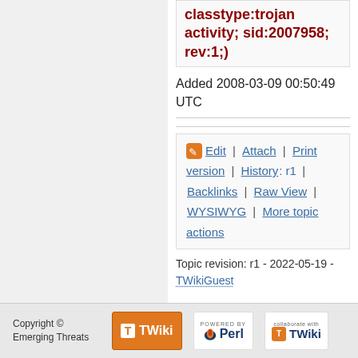classtype:trojan activity; sid:2007958; rev:1;)
Added 2008-03-09 00:50:49 UTC
Edit | Attach | Print version | History: r1 | Backlinks | Raw View | WYSIWYG | More topic actions
Topic revision: r1 - 2022-05-19 - TWikiGuest
Copyright © Emerging Threats